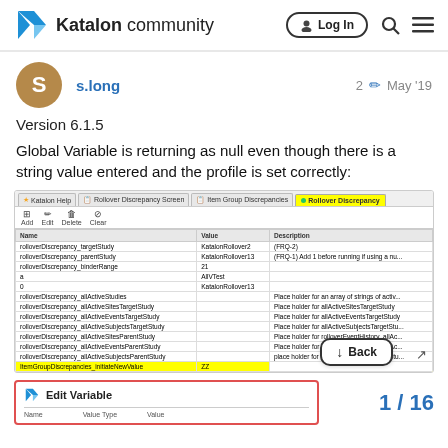Katalon community | Log In
s.long  2 ✏ May '19
Version 6.1.5
Global Variable is returning as null even though there is a string value entered and the profile is set correctly:
[Figure (screenshot): Screenshot of Katalon Studio Global Variable profile editor showing a list of variables including 'rolloverDiscrepancy_targetStudy', 'rolloverDiscrepancy_parentStudy', and others. One row 'ItemGroupDiscrepancies_initiateNewValue' is highlighted in yellow with value 'ZZ'. A 'Back' button overlay is visible in the bottom right.]
[Figure (screenshot): Partial screenshot of 'Edit Variable' dialog with Katalon logo and column headers for Name, Value Type, Value.]
1 / 16